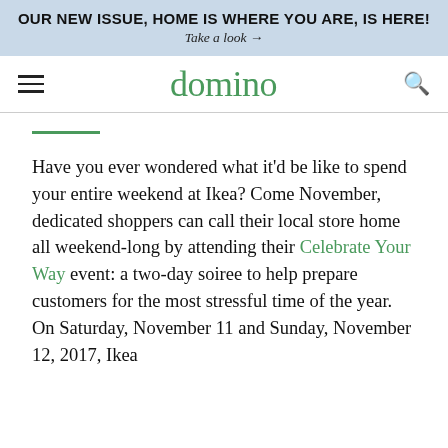OUR NEW ISSUE, HOME IS WHERE YOU ARE, IS HERE!
Take a look →
domino
Have you ever wondered what it'd be like to spend your entire weekend at Ikea? Come November, dedicated shoppers can call their local store home all weekend-long by attending their Celebrate Your Way event: a two-day soiree to help prepare customers for the most stressful time of the year. On Saturday, November 11 and Sunday, November 12, 2017, Ikea